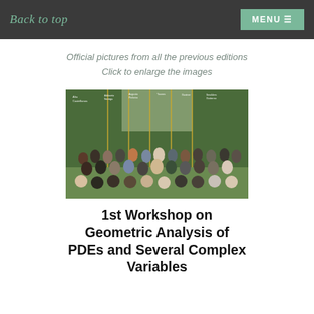Back to top | MENU
Official pictures from all the previous editions
Click to enlarge the images
[Figure (photo): Group photo of workshop participants with name labels overlaid, showing approximately 30 people posed outdoors in front of greenery]
1st Workshop on Geometric Analysis of PDEs and Several Complex Variables